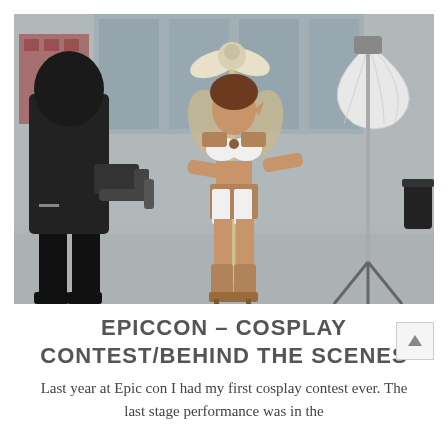[Figure (photo): A cosplayer dressed in an elaborate fantasy warrior costume with wings on a staff, posing for a photographer in black hoodie with a camera. A white umbrella light stand is visible on the right side. Shot in what appears to be a convention center with large windows in the background.]
EPICCON – COSPLAY CONTEST/BEHIND THE SCENES
Last year at Epic con I had my first cosplay contest ever. The last stage performance was in the